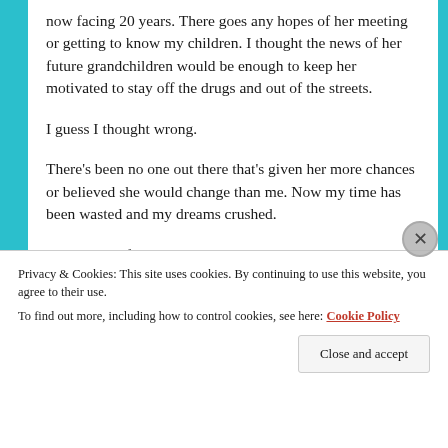now facing 20 years. There goes any hopes of her meeting or getting to know my children. I thought the news of her future grandchildren would be enough to keep her motivated to stay off the drugs and out of the streets.
I guess I thought wrong.
There's been no one out there that's given her more chances or believed she would change than me. Now my time has been wasted and my dreams crushed.
In the light of so much excitement, there is so much heartbreak.
Privacy & Cookies: This site uses cookies. By continuing to use this website, you agree to their use.
To find out more, including how to control cookies, see here: Cookie Policy